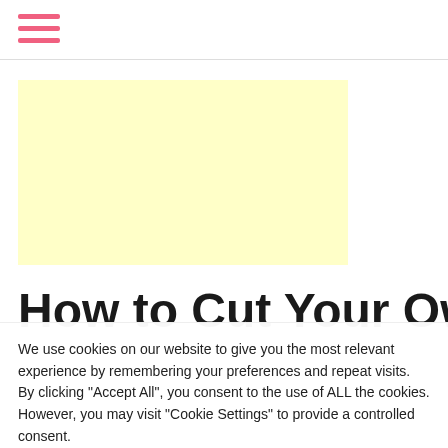[hamburger menu icon]
[Figure (other): Light yellow advertisement placeholder rectangle]
How to Cut Your Own
We use cookies on our website to give you the most relevant experience by remembering your preferences and repeat visits. By clicking "Accept All", you consent to the use of ALL the cookies. However, you may visit "Cookie Settings" to provide a controlled consent.
Cookie Settings | Accept All